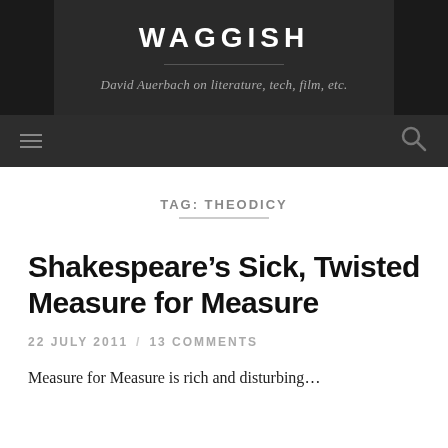WAGGISH
David Auerbach on literature, tech, film, etc.
TAG: THEODICY
Shakespeare’s Sick, Twisted Measure for Measure
22 JULY 2011 / 13 COMMENTS
Measure for Measure is rich and disturbing...